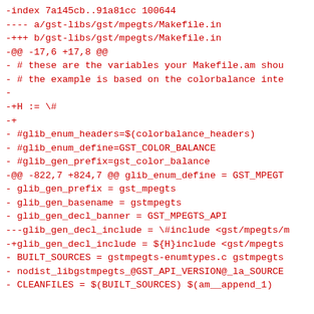-index 7a145cb..91a81cc 100644
---- a/gst-libs/gst/mpegts/Makefile.in
-+++ b/gst-libs/gst/mpegts/Makefile.in
-@@ -17,6 +17,8 @@
- # these are the variables your Makefile.am shou
- # the example is based on the colorbalance inte
-
-+H := \#
-+
- #glib_enum_headers=$(colorbalance_headers)
- #glib_enum_define=GST_COLOR_BALANCE
- #glib_gen_prefix=gst_color_balance
-@@ -822,7 +824,7 @@ glib_enum_define = GST_MPEGT
- glib_gen_prefix = gst_mpegts
- glib_gen_basename = gstmpegts
- glib_gen_decl_banner = GST_MPEGTS_API
---glib_gen_decl_include = \#include <gst/mpegts/m
-+glib_gen_decl_include = ${H}include <gst/mpegts
- BUILT_SOURCES = gstmpegts-enumtypes.c gstmpegts
- nodist_libgstmpegts_@GST_API_VERSION@_la_SOURCE
- CLEANFILES = $(BUILT_SOURCES) $(am__append_1)